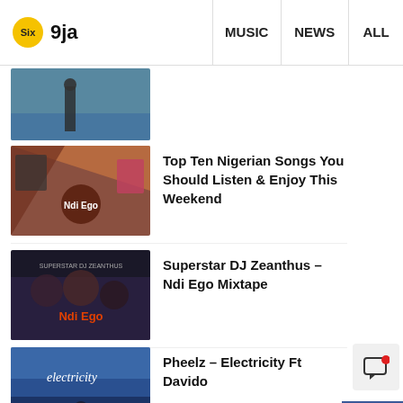Six9ja — MUSIC | NEWS | ALL
[Figure (photo): Thumbnail image of a person standing near water/bridge]
Top Ten Nigerian Songs You Should Listen & Enjoy This Weekend
Superstar DJ Zeanthus – Ndi Ego Mixtape
Pheelz – Electricity Ft Davido
Tiwa Savage ft Zinoleesky – Jaiye Foreign
Fireboy DML ft. Asake – Bandana